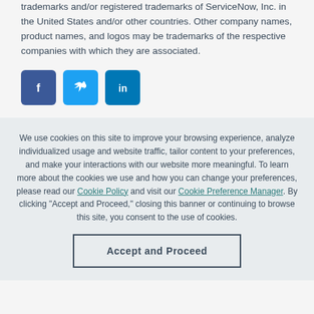trademarks and/or registered trademarks of ServiceNow, Inc. in the United States and/or other countries. Other company names, product names, and logos may be trademarks of the respective companies with which they are associated.
[Figure (other): Three social media icon buttons: Facebook (f), Twitter (bird icon), LinkedIn (in)]
We use cookies on this site to improve your browsing experience, analyze individualized usage and website traffic, tailor content to your preferences, and make your interactions with our website more meaningful. To learn more about the cookies we use and how you can change your preferences, please read our Cookie Policy and visit our Cookie Preference Manager. By clicking "Accept and Proceed," closing this banner or continuing to browse this site, you consent to the use of cookies.